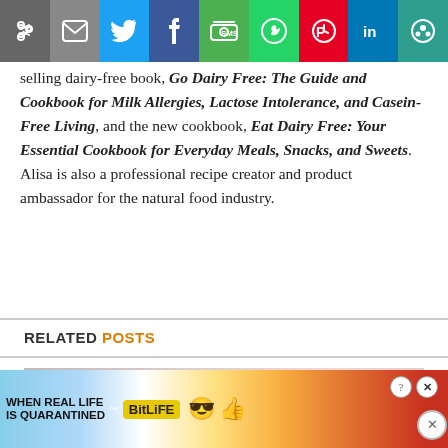[Figure (screenshot): Social media sharing toolbar with icons for link copy, email, Twitter, Facebook, SMS, WhatsApp, Pinterest, LinkedIn, and more options]
selling dairy-free book, Go Dairy Free: The Guide and Cookbook for Milk Allergies, Lactose Intolerance, and Casein-Free Living, and the new cookbook, Eat Dairy Free: Your Essential Cookbook for Everyday Meals, Snacks, and Sweets. Alisa is also a professional recipe creator and product ambassador for the natural food industry.
RELATED POSTS
[Figure (photo): Faded/blurred photo with warm pinkish tones, partially visible]
[Figure (screenshot): Advertisement banner: WHEN REAL LIFE IS QUARANTINED with BitLife logo and emoji mascot]